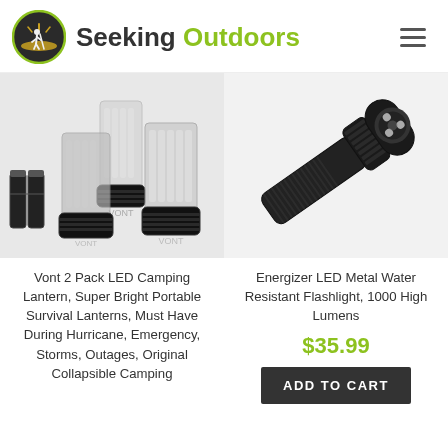Seeking Outdoors
[Figure (photo): Vont 2-pack LED camping lanterns with batteries, collapsible black lanterns shown expanded on white background]
[Figure (photo): Energizer LED metal water resistant flashlight, black tactical flashlight on white background]
Vont 2 Pack LED Camping Lantern, Super Bright Portable Survival Lanterns, Must Have During Hurricane, Emergency, Storms, Outages, Original Collapsible Camping
Energizer LED Metal Water Resistant Flashlight, 1000 High Lumens
$35.99
ADD TO CART